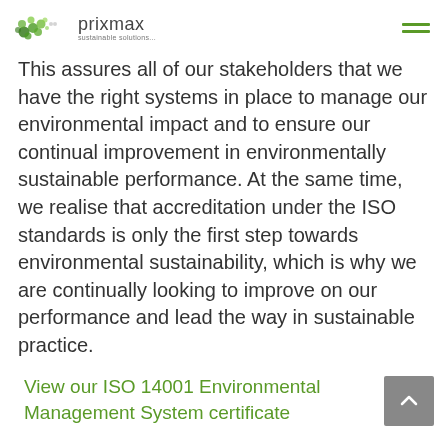prixmax sustainable solutions.
This assures all of our stakeholders that we have the right systems in place to manage our environmental impact and to ensure our continual improvement in environmentally sustainable performance. At the same time, we realise that accreditation under the ISO standards is only the first step towards environmental sustainability, which is why we are continually looking to improve on our performance and lead the way in sustainable practice.
View our ISO 14001 Environmental Management System certificate